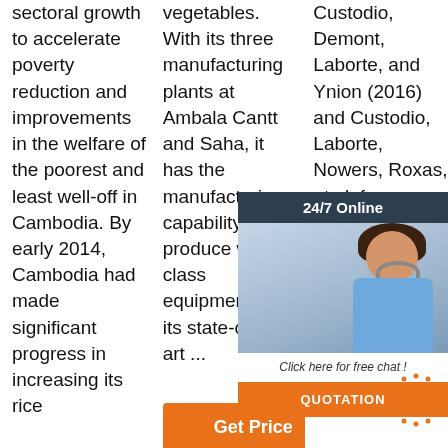sectoral growth to accelerate poverty reduction and improvements in the welfare of the poorest and least well-off in Cambodia. By early 2014, Cambodia had made significant progress in increasing its rice
vegetables. With its three manufacturing plants at Ambala Cantt and Saha, it has the manufacturing capability to produce world class equipment with its state-of-the-art ...
Custodio, Demont, Laborte, and Ynion (2016) and Custodio, Laborte, Npowers, Roxas, et al. for illustrating consumer preferences for grain quality attributes are geographically
[Figure (infographic): 24/7 Online customer support ad overlay with woman wearing headset, 'Click here for free chat!' text, and orange QUOTATION button]
[Figure (other): Orange 'Get Price' button in column 2]
[Figure (other): TOP badge/watermark in bottom right corner]